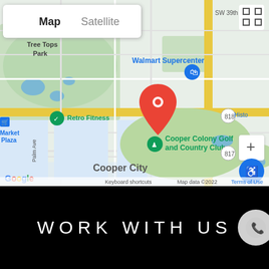[Figure (map): Google Maps view showing Cooper City area in Florida with a red location pin marker. Nearby landmarks include Walmart Supercenter, Retro Fitness, Cooper Colony Golf and Country Club, and Tree Tops Park. Map controls include Map/Satellite toggle, zoom +/-, accessibility button, and fullscreen button. Map data ©2022. Streets include road labeled SW 39th and route markers 818 and 817.]
WORK WITH US